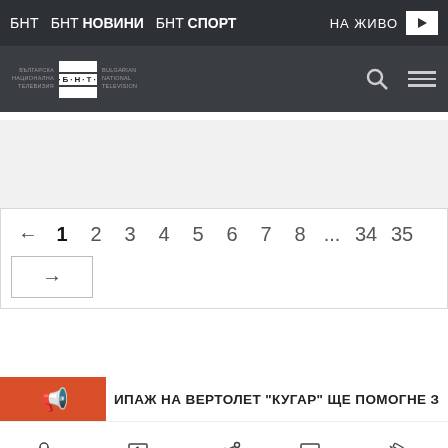БНТ  БНТ НОВИНИ  БНТ СПОРТ  НА ЖИВО
[Figure (logo): БНТ Bulgarian National Television logo with search and menu icons]
← 1 2 3 4 5 6 7 8 ... 34 35 →
ИПАЖ НА ВЕРТОЛЕТ "КУГАР" ЩЕ ПОМОГНЕ З
ПОДКАСТИ  ПРОГРАМАТА  ЗА МЕДИИ  ЗА БНТ  НЕРЕДНОСТИ